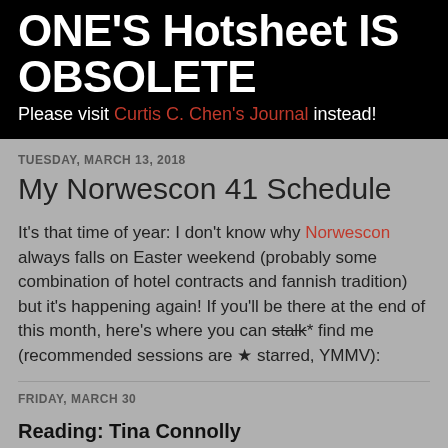ONE'S Hotsheet IS OBSOLETE
Please visit Curtis C. Chen's Journal instead!
TUESDAY, MARCH 13, 2018
My Norwescon 41 Schedule
It's that time of year: I don't know why Norwescon always falls on Easter weekend (probably some combination of hotel contracts and fannish tradition) but it's happening again! If you'll be there at the end of this month, here's where you can stalk* find me (recommended sessions are ★ starred, YMMV):
FRIDAY, MARCH 30
Reading: Tina Connolly
10:30–11 a.m. @ Cascade 4
Something new and different: Tina Connolly reads something